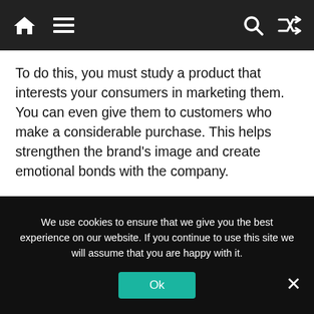[Navigation bar with home, menu, search, and shuffle icons]
To do this, you must study a product that interests your consumers in marketing them. You can even give them to customers who make a considerable purchase. This helps strengthen the brand's image and create emotional bonds with the company.
Organize contests in your digital media
It is another innovative way to capture the attention of your followers, the idea is to develop a
We use cookies to ensure that we give you the best experience on our website. If you continue to use this site we will assume that you are happy with it.